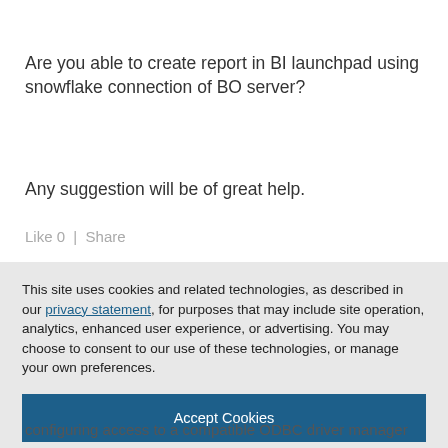Are you able to create report in BI launchpad using snowflake connection of BO server?
Any suggestion will be of great help.
Like 0  |  Share
This site uses cookies and related technologies, as described in our privacy statement, for purposes that may include site operation, analytics, enhanced user experience, or advertising. You may choose to consent to our use of these technologies, or manage your own preferences.
Accept Cookies
More Information
Privacy Policy | Powered by: TrustArc
configuring access to a compatible ODBC driver manager